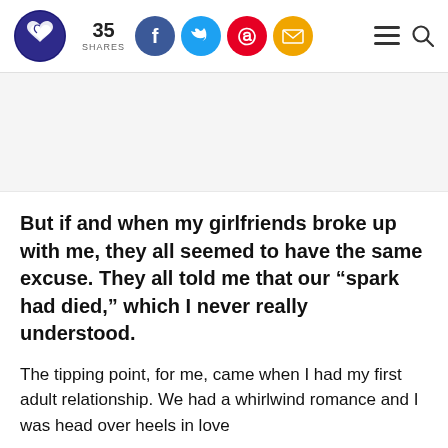35 SHARES
But if and when my girlfriends broke up with me, they all seemed to have the same excuse. They all told me that our “spark had died,” which I never really understood.
The tipping point, for me, came when I had my first adult relationship. We had a whirlwind romance and I was head over heels in love